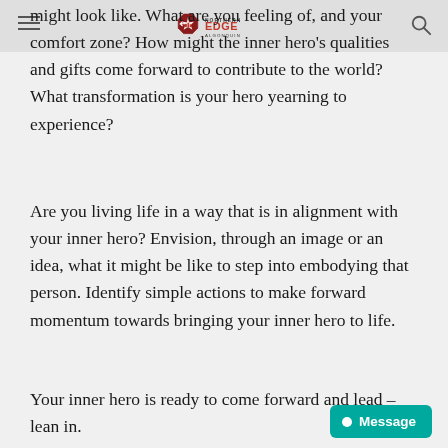Northern Edge Algonquin
might look like. What are you feeling of, and your comfort zone? How might the inner hero's qualities and gifts come forward to contribute to the world? What transformation is your hero yearning to experience?
Are you living life in a way that is in alignment with your inner hero? Envision, through an image or an idea, what it might be like to step into embodying that person. Identify simple actions to make forward momentum towards bringing your inner hero to life.
Your inner hero is ready to come forward and lead – lean in.